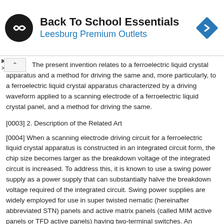[Figure (infographic): Advertisement banner for Back To School Essentials at Leesburg Premium Outlets, featuring a black circular logo with double arrow symbol, text, and a blue diamond navigation icon on the right.]
The present invention relates to a ferroelectric liquid crystal apparatus and a method for driving the same and, more particularly, to a ferroelectric liquid crystal apparatus characterized by a driving waveform applied to a scanning electrode of a ferroelectric liquid crystal panel, and a method for driving the same.
[0003] 2. Description of the Related Art
[0004] When a scanning electrode driving circuit for a ferroelectric liquid crystal apparatus is constructed in an integrated circuit form, the chip size becomes larger as the breakdown voltage of the integrated circuit is increased. To address this, it is known to use a swing power supply as a power supply that can substantially halve the breakdown voltage required of the integrated circuit. Swing power supplies are widely employed for use in super twisted nematic (hereinafter abbreviated STN) panels and active matrix panels (called MIM active panels or TFD active panels) having two-terminal switches. An example of application to a ferroelectric liquid crystal panel is described in Japanese Unexamined Patent Publication No. S62-237422.